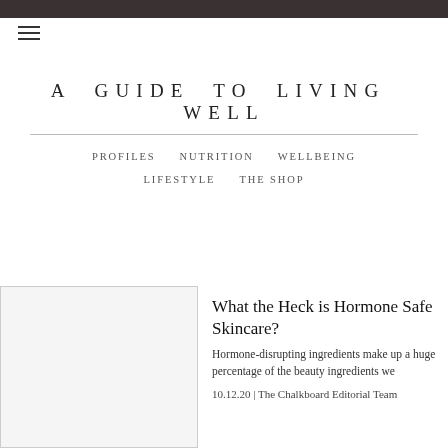A GUIDE TO LIVING WELL
PROFILES  NUTRITION  WELLBEING  LIFESTYLE  THE SHOP
What the Heck is Hormone Safe Skincare?
Hormone-disrupting ingredients make up a huge percentage of the beauty ingredients we
10.12.20 | The Chalkboard Editorial Team